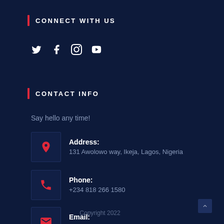CONNECT WITH US
[Figure (other): Social media icons: Twitter, Facebook, Instagram, YouTube]
CONTACT INFO
Say hello any time!
Address: 131 Awolowo way, Ikeja, Lagos, Nigeria
Phone: +234 818 266 1580
Email: contact@thetpl.org
Copyright 2022